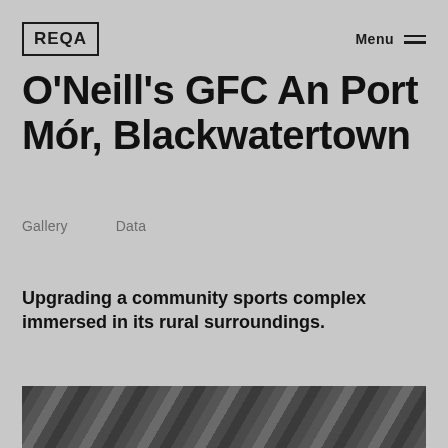REQA | Menu
O'Neill's GFC An Port Mór, Blackwatertown
Gallery    Data
Upgrading a community sports complex immersed in its rural surroundings.
[Figure (photo): Partial view of a dark architectural or textured surface at the bottom of the page]